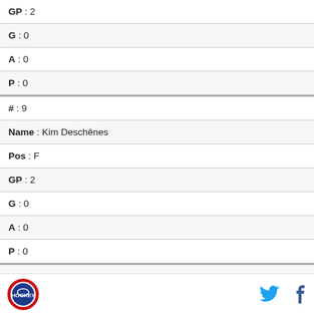| GP | 2 |
| G | 0 |
| A | 0 |
| P | 0 |
| # | 9 |
| Name | Kim Deschênes |
| Pos | F |
| GP | 2 |
| G | 0 |
| A | 0 |
| P | 0 |
[Figure (logo): Circular sports team logo with red border and hockey imagery]
[Figure (logo): Twitter bird icon in blue]
[Figure (logo): Facebook f icon in blue]